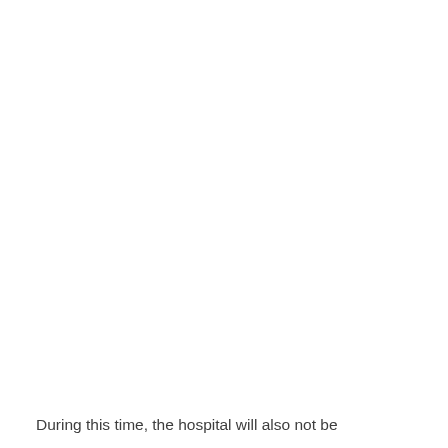During this time, the hospital will also not be